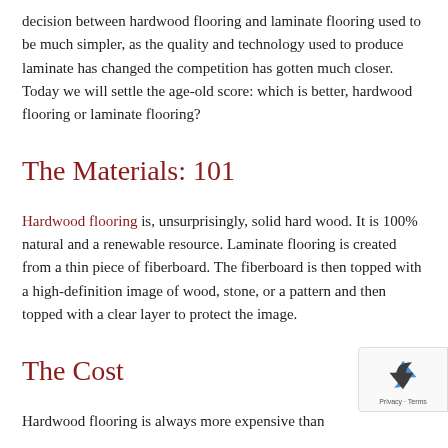decision between hardwood flooring and laminate flooring used to be much simpler, as the quality and technology used to produce laminate has changed the competition has gotten much closer. Today we will settle the age-old score: which is better, hardwood flooring or laminate flooring?
The Materials: 101
Hardwood flooring is, unsurprisingly, solid hard wood. It is 100% natural and a renewable resource. Laminate flooring is created from a thin piece of fiberboard. The fiberboard is then topped with a high-definition image of wood, stone, or a pattern and then topped with a clear layer to protect the image.
The Cost
Hardwood flooring is always more expensive than